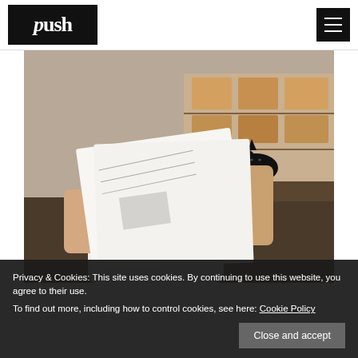[Figure (logo): Push logo: black rectangle with white stylized 'push' text in serif italic font]
[Figure (other): Hamburger menu icon button: dark square with three horizontal white bars]
[Figure (photo): Photo of a person wearing a white t-shirt with red 'push' logo, holding up printed sheets of paper in what appears to be an office/studio with shelving and boxes in the background]
Privacy & Cookies: This site uses cookies. By continuing to use this website, you agree to their use.
To find out more, including how to control cookies, see here: Cookie Policy
Close and accept